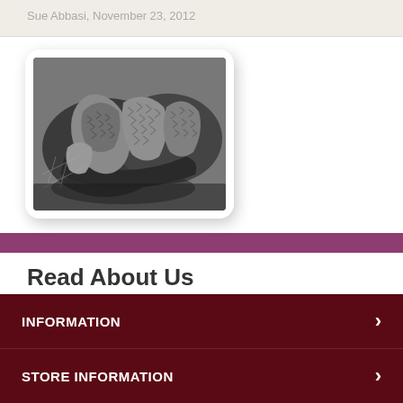Sue Abbasi, November 23, 2012
[Figure (photo): Black and white photograph of morel mushrooms in a bowl, placed on a patterned surface, displayed inside a white rounded card with shadow]
Read About Us
Want to find out a little bit about us?
INFORMATION
STORE INFORMATION